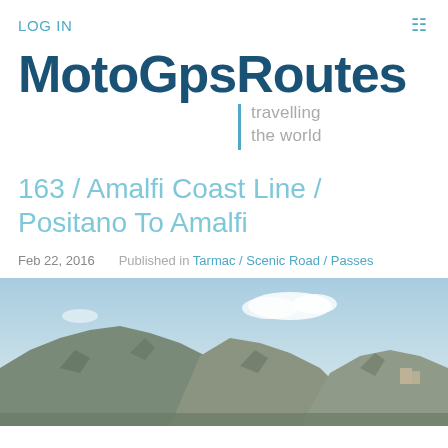LOG IN
MotoGpsRoutes | travelling the world
163 / Amalfi Coast Line / Positano To Amalfi
Feb 22, 2016   Published in Tarmac / Scenic Road / Passes
[Figure (photo): Scenic coastal mountain landscape, likely the Amalfi Coast, showing steep rocky mountains under a blue sky with white clouds.]